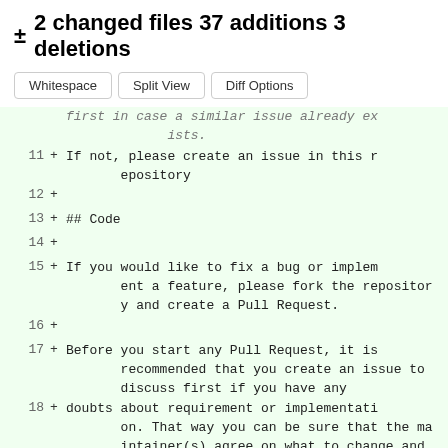± 2 changed files 37 additions 3 deletions
Whitespace  Split View  Diff Options
first in case a similar issue already exists.
11 + If not, please create an issue in this repository
12 +
13 + ## Code
14 +
15 + If you would like to fix a bug or implement a feature, please fork the repository and create a Pull Request.
16 +
17 + Before you start any Pull Request, it is recommended that you create an issue to discuss first if you have any
18 + doubts about requirement or implementation. That way you can be sure that the maintainer(s) agree on what to change and how,
19 + and you can hopefully get a quick merge